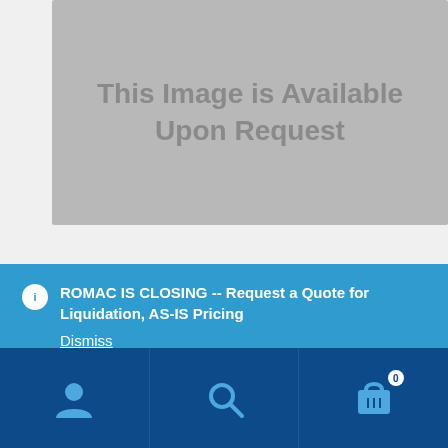[Figure (other): Gray placeholder image with text 'This Image is Available Upon Request']
ROMAC IS CLOSING -- Request a Quote for Liquidation, AS-IS Pricing
Dismiss
[Figure (other): Bottom navigation bar with person icon, search icon, and cart icon with badge showing 0]